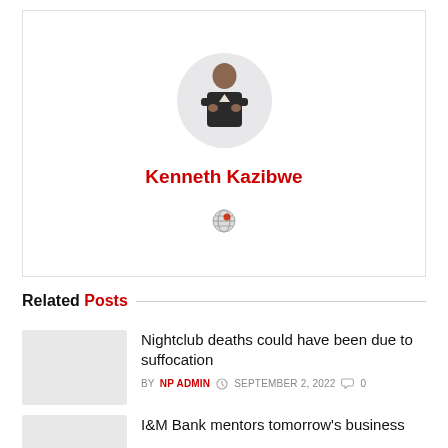[Figure (photo): Author profile card for Kenneth Kazibwe with circular avatar photo and globe icon]
Kenneth Kazibwe
Related Posts
Nightclub deaths could have been due to suffocation
BY NP ADMIN  SEPTEMBER 2, 2022  0
I&M Bank mentors tomorrow's business